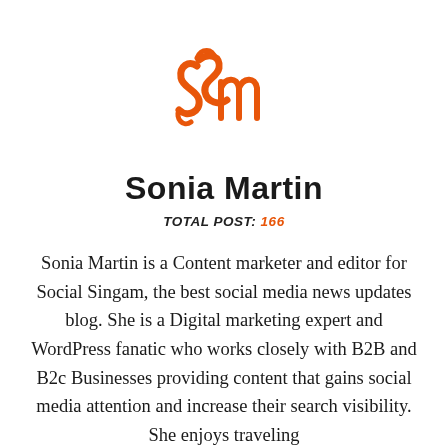[Figure (logo): Stylized 'Sm' monogram logo in orange script font, representing Social Singam or Sonia Martin brand]
Sonia Martin
TOTAL POST: 166
Sonia Martin is a Content marketer and editor for Social Singam, the best social media news updates blog. She is a Digital marketing expert and WordPress fanatic who works closely with B2B and B2c Businesses providing content that gains social media attention and increase their search visibility. She enjoys traveling